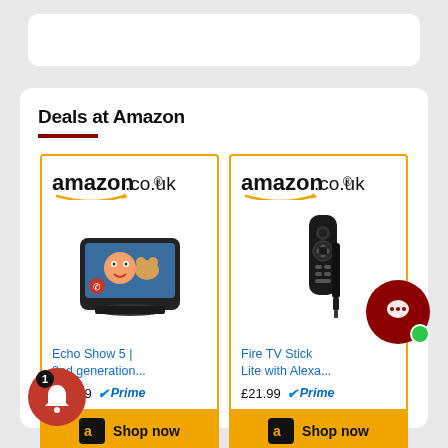Deals at Amazon
[Figure (screenshot): Amazon.co.uk product card for Echo Show 5 2nd generation showing price £39.99 with Prime badge and Shop now button]
Echo Show 5 | 2nd generation...
£39.99 Prime
[Figure (screenshot): Amazon.co.uk product card for Fire TV Stick Lite with Alexa showing price £21.99 with Prime badge and Shop now button]
Fire TV Stick Lite with Alexa...
£21.99 Prime